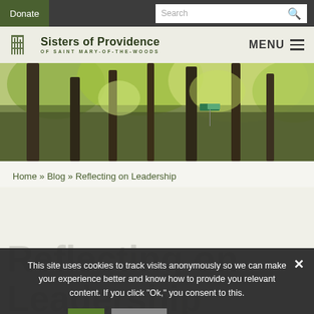Donate | Search
[Figure (logo): Sisters of Providence of Saint Mary-of-the-Woods logo with tree icon]
[Figure (photo): Wooded forest scene with tall tree trunks and green leafy canopy, with a small street sign visible in the background]
Home » Blog » Reflecting on Leadership
Reflecting on Leadership
This site uses cookies to track visits anonymously so we can make your experience better and know how to provide you relevant content. If you click "Ok," you consent to this.
Ok | Opt out | Privacy statement